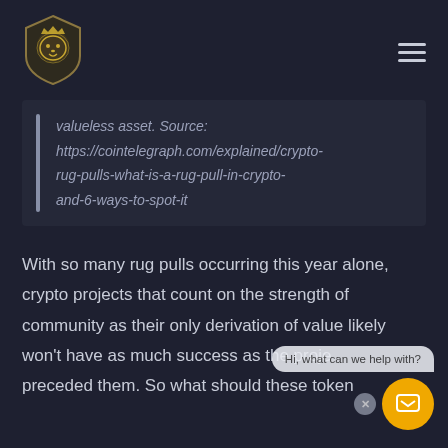[Figure (logo): Lion shield logo in gold/white on dark background]
valueless asset. Source: https://cointelegraph.com/explained/crypto-rug-pulls-what-is-a-rug-pull-in-crypto-and-6-ways-to-spot-it
With so many rug pulls occurring this year alone, crypto projects that count on the strength of community as their only derivation of value likely won't have as much success as the proje preceded them. So what should these token